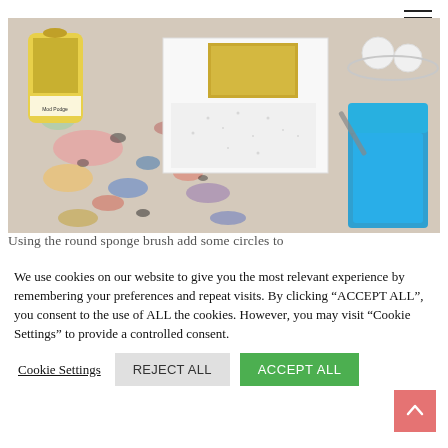[Figure (photo): Overhead view of a craft/art workspace table covered in colorful paint splatters. Items visible include a bottle of Mod Podge, a white paper card with a gold glitter stamp block on top, some small white styrofoam balls in a tray, and a large blue foam/sponge block, all on a paint-covered surface.]
Using the round sponge brush add some circles to
We use cookies on our website to give you the most relevant experience by remembering your preferences and repeat visits. By clicking “ACCEPT ALL”, you consent to the use of ALL the cookies. However, you may visit "Cookie Settings" to provide a controlled consent.